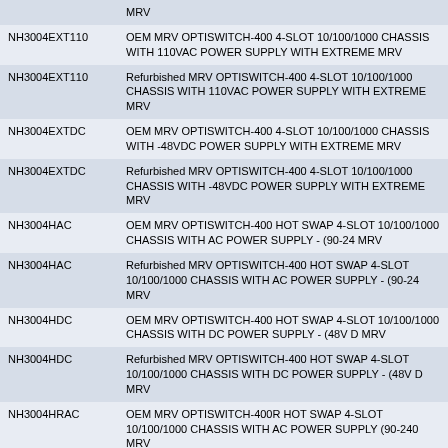| Part Number | Description |
| --- | --- |
|  | MRV |
| NH3004EXT110 | OEM MRV OPTISWITCH-400 4-SLOT 10/100/1000 CHASSIS WITH 110VAC POWER SUPPLY WITH EXTREME MRV |
| NH3004EXT110 | Refurbished MRV OPTISWITCH-400 4-SLOT 10/100/1000 CHASSIS WITH 110VAC POWER SUPPLY WITH EXTREME MRV |
| NH3004EXTDC | OEM MRV OPTISWITCH-400 4-SLOT 10/100/1000 CHASSIS WITH -48VDC POWER SUPPLY WITH EXTREME MRV |
| NH3004EXTDC | Refurbished MRV OPTISWITCH-400 4-SLOT 10/100/1000 CHASSIS WITH -48VDC POWER SUPPLY WITH EXTREME MRV |
| NH3004HAC | OEM MRV OPTISWITCH-400 HOT SWAP 4-SLOT 10/100/1000 CHASSIS WITH AC POWER SUPPLY - (90-24 MRV |
| NH3004HAC | Refurbished MRV OPTISWITCH-400 HOT SWAP 4-SLOT 10/100/1000 CHASSIS WITH AC POWER SUPPLY - (90-24 MRV |
| NH3004HDC | OEM MRV OPTISWITCH-400 HOT SWAP 4-SLOT 10/100/1000 CHASSIS WITH DC POWER SUPPLY - (48V D MRV |
| NH3004HDC | Refurbished MRV OPTISWITCH-400 HOT SWAP 4-SLOT 10/100/1000 CHASSIS WITH DC POWER SUPPLY - (48V D MRV |
| NH3004HRAC | OEM MRV OPTISWITCH-400R HOT SWAP 4-SLOT 10/100/1000 CHASSIS WITH AC POWER SUPPLY (90-240 MRV |
| NH3004HRAC | Refurbished MRV OPTISWITCH-400R HOT SWAP 4-SLOT 10/100/1000 CHASSIS WITH AC POWER SUPPLY (90-240 MRV |
| NH3004HRDC | OEM MRV OPTISWITCH-400R HOT SWAP 4-SLOT 10/100/1000 CHASSIS WITH DC POWER SUPPLY (48V DC MRV |
| NH3004HRDC | Refurbished MRV OPTISWITCH-400R HOT SWAP 4-SLOT 10/100/1000 CHASSIS WITH DC POWER SUPPLY (48V DC MRV |
| NH3004RAC | OEM MRV OPTISWITCH-400R 4-SLOT 10/100/1000 CHASSIS WITH AC POWER SUPPLY (90-240V AC) PLU MRV |
| NH3004RAC | Refurbished MRV OPTISWITCH-400R 4-SLOT 10/100/1000 CHASSIS WITH AC POWER SUPPLY (90-240V AC) PLU MRV |